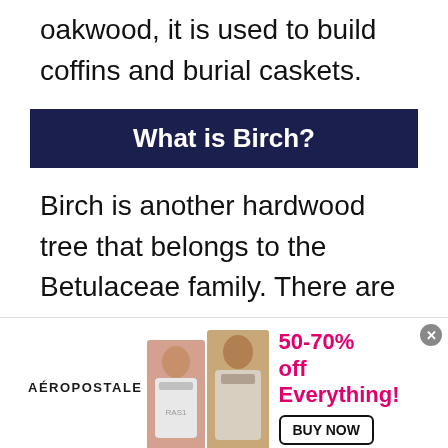oakwood, it is used to build coffins and burial caskets.
What is Birch?
Birch is another hardwood tree that belongs to the Betulaceae family. There are almost sixty types of birch species that grow all over the world in temperate climates.
[Figure (other): A circular play button icon with a pink/magenta border and a pink triangular play arrow in the center.]
Birch trees need enough sunlight, enough
[Figure (other): Aeropostale advertisement banner showing 50-70% off Everything with a BUY NOW button and two female models.]